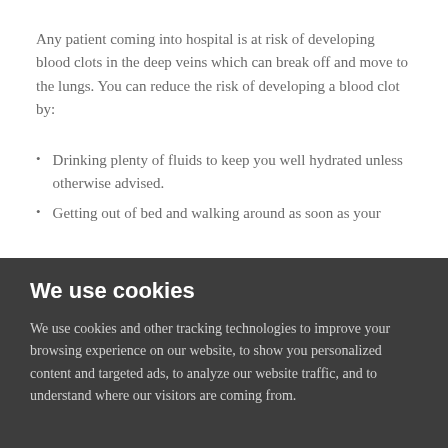Any patient coming into hospital is at risk of developing blood clots in the deep veins which can break off and move to the lungs. You can reduce the risk of developing a blood clot by:
Drinking plenty of fluids to keep you well hydrated unless otherwise advised.
Getting out of bed and walking around as soon as your
We use cookies
We use cookies and other tracking technologies to improve your browsing experience on our website, to show you personalized content and targeted ads, to analyze our website traffic, and to understand where our visitors are coming from.